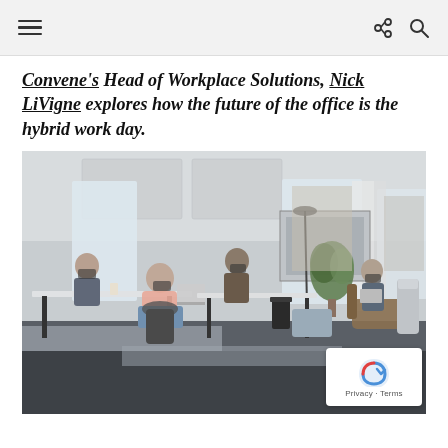— (hamburger menu, share icon, search icon)
Convene's Head of Workplace Solutions, Nick LiVigne explores how the future of the office is the hybrid work day.
[Figure (photo): Modern office space with several people working at desks and lounge seating, wearing masks, with large windows and plants in background.]